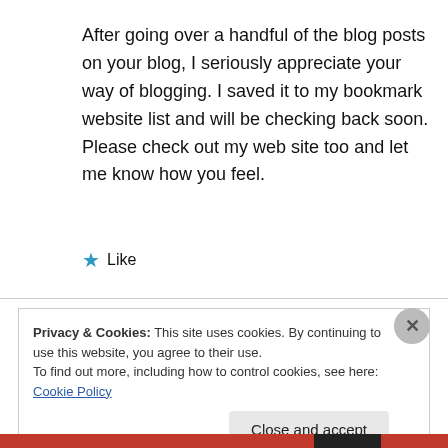After going over a handful of the blog posts on your blog, I seriously appreciate your way of blogging. I saved it to my bookmark website list and will be checking back soon. Please check out my web site too and let me know how you feel.
★ Like
Privacy & Cookies: This site uses cookies. By continuing to use this website, you agree to their use. To find out more, including how to control cookies, see here: Cookie Policy
Close and accept